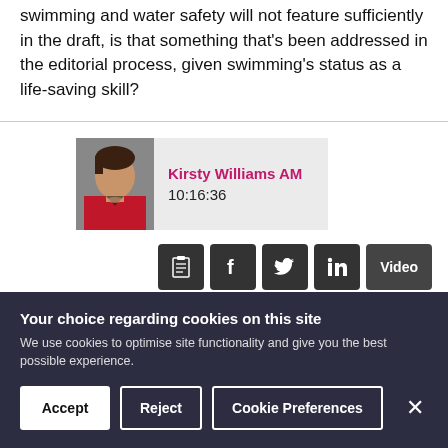swimming and water safety will not feature sufficiently in the draft, is that something that's been addressed in the editorial process, given swimming's status as a life-saving skill?
[Figure (photo): Speaker card for Kirsty Williams AM showing her photo, name in pink, and timestamp 10:16:36]
[Figure (infographic): Share/action buttons row: clipboard icon, Facebook icon, Twitter icon, LinkedIn icon, Video button]
115. With...
Your choice regarding cookies on this site
We use cookies to optimise site functionality and give you the best possible experience.